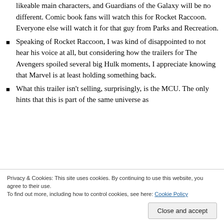likeable main characters, and Guardians of the Galaxy will be no different. Comic book fans will watch this for Rocket Raccoon. Everyone else will watch it for that guy from Parks and Recreation.
Speaking of Rocket Raccoon, I was kind of disappointed to not hear his voice at all, but considering how the trailers for The Avengers spoiled several big Hulk moments, I appreciate knowing that Marvel is at least holding something back.
What this trailer isn't selling, surprisingly, is the MCU. The only hints that this is part of the same universe as
Privacy & Cookies: This site uses cookies. By continuing to use this website, you agree to their use. To find out more, including how to control cookies, see here: Cookie Policy
Close and accept